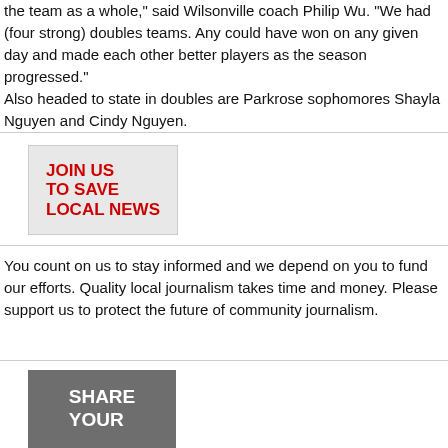the team as a whole," said Wilsonville coach Philip Wu. "We had (four strong) doubles teams. Any could have won on any given day and made each other better players as the season progressed."
Also headed to state in doubles are Parkrose sophomores Shayla Nguyen and Cindy Nguyen.
[Figure (infographic): Red bold text on light gray background reading: JOIN US TO SAVE LOCAL NEWS]
You count on us to stay informed and we depend on you to fund our efforts. Quality local journalism takes time and money. Please support us to protect the future of community journalism.
[Figure (infographic): White bold text on gray background reading: SHARE YOUR]